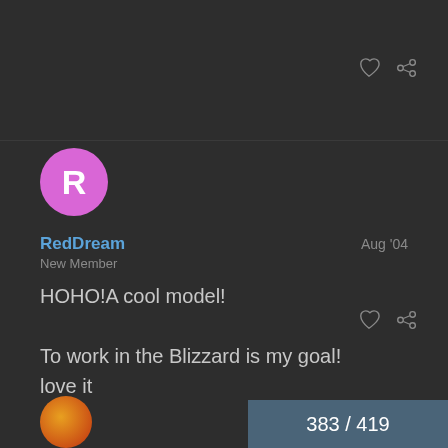[Figure (other): Heart icon (like button) and share/link icon in top right area]
[Figure (other): Pink circle avatar with white letter R]
RedDream
Aug '04
New Member
HOHO!A cool model!

To work in the Blizzard is my goal!
love it
[Figure (other): Heart icon and share/link icon in bottom right area]
383 / 419
[Figure (other): Partial avatar with orange/red coloring at bottom left]